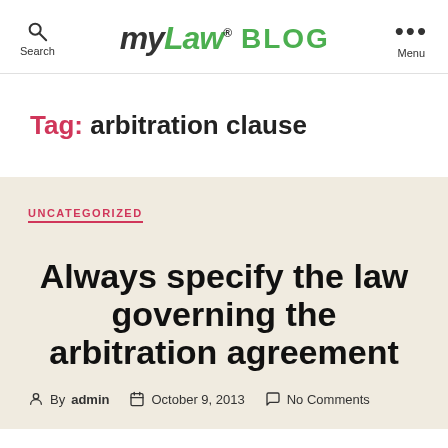myLaw® BLOG — Search | Menu
Tag: arbitration clause
UNCATEGORIZED
Always specify the law governing the arbitration agreement
By admin   October 9, 2013   No Comments